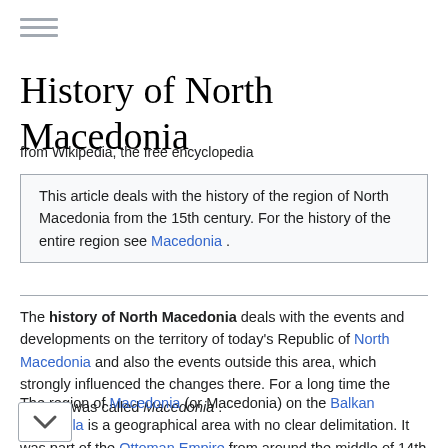[Figure (other): Hamburger menu icon (three horizontal lines)]
History of North Macedonia
from Wikipedia, the free encyclopedia
This article deals with the history of the region of North Macedonia from the 15th century. For the history of the entire region see Macedonia .
The history of North Macedonia deals with the events and developments on the territory of today's Republic of North Macedonia and also the events outside this area, which strongly influenced the changes there. For a long time the country was called Macedonia .
The region of Macedonia (or Macedonia) on the Balkan Peninsula is a geographical area with no clear delimitation. It was part of the Ottoman Empire from around the middle of 14th century to the beginning of the 20th century and